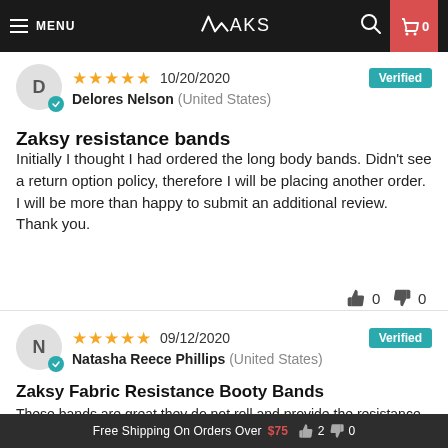MENU | MAKSY | 0
★★★★★ 10/20/2020  Verified
Delores Nelson (United States)
Zaksy resistance bands
Initially I thought I had ordered the long body bands. Didn't see a return option policy, therefore I will be placing another order. I will be more than happy to submit an additional review. Thank you.
👍 0  👎 0
★★★★★ 09/12/2020  Verified
Natasha Reece Phillips (United States)
Zaksy Fabric Resistance Booty Bands
These bands are great they do not roll and provide the resistance that you want.
Free Shipping On Orders Over $75  👍 2  👎 0